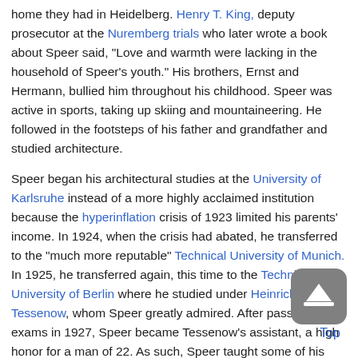home they had in Heidelberg. Henry T. King, deputy prosecutor at the Nuremberg trials who later wrote a book about Speer said, "Love and warmth were lacking in the household of Speer's youth." His brothers, Ernst and Hermann, bullied him throughout his childhood. Speer was active in sports, taking up skiing and mountaineering. He followed in the footsteps of his father and grandfather and studied architecture.
Speer began his architectural studies at the University of Karlsruhe instead of a more highly acclaimed institution because the hyperinflation crisis of 1923 limited his parents' income. In 1924, when the crisis had abated, he transferred to the "much more reputable" Technical University of Munich. In 1925, he transferred again, this time to the Technical University of Berlin where he studied under Heinrich Tessenow, whom Speer greatly admired. After passing his exams in 1927, Speer became Tessenow's assistant, a high honor for a man of 22. As such, Speer taught some of his classes while continuing his own